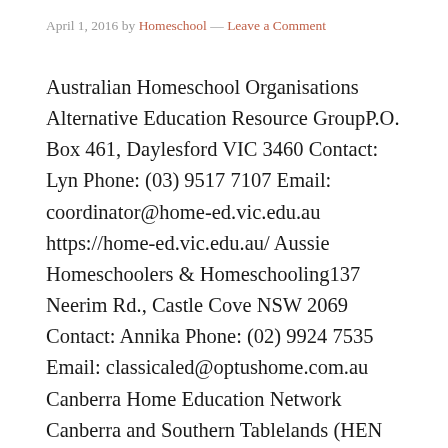April 1, 2016 by Homeschool — Leave a Comment
Australian Homeschool Organisations Alternative Education Resource GroupP.O. Box 461, Daylesford VIC 3460 Contact: Lyn Phone: (03) 9517 7107 Email: coordinator@home-ed.vic.edu.au https://home-ed.vic.edu.au/ Aussie Homeschoolers & Homeschooling137 Neerim Rd., Castle Cove NSW 2069 Contact: Annika Phone: (02) 9924 7535 Email: classicaled@optushome.com.au Canberra Home Education Network Canberra and Southern Tablelands (HEN CAST)Contact: HENCAST-Info@yahoogroups.comPhone: (02) 6288 8549 Charlotte Mason […]